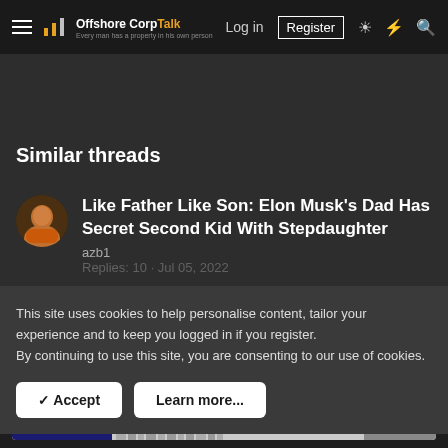Offshore Corp Talk – Log in | Register
Similar threads
Like Father Like Son: Elon Musk's Dad Has Secret Second Kid With Stepdaughter
azb1
Replies: 10 · Jul 05, 2022
This site uses cookies to help personalise content, tailor your experience and to keep you logged in if you register.
By continuing to use this site, you are consenting to our use of cookies.
Accept
Learn more...
[Figure (other): DLS Dubai – Crypto Service Dubai advertisement banner with CLICK HERE button]